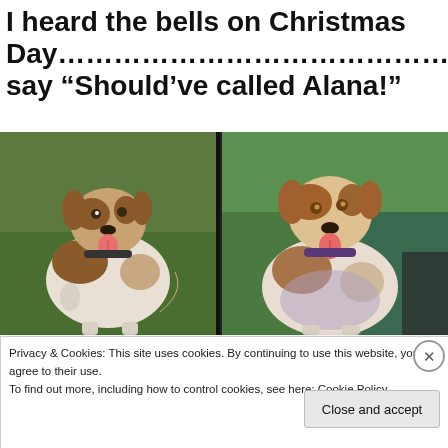I heard the bells on Christmas Day………………………………… say “Should’ve called Alana!”
[Figure (photo): Side-by-side image: left side shows a real photo of a brown and white dog sitting on grass with tongue out; right side shows a colorful painted portrait of the same dog.]
Privacy & Cookies: This site uses cookies. By continuing to use this website, you agree to their use.
To find out more, including how to control cookies, see here: Cookie Policy
Close and accept